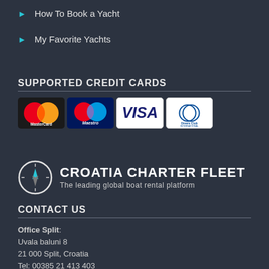How To Book a Yacht
My Favorite Yachts
SUPPORTED CREDIT CARDS
[Figure (logo): Credit card logos: MasterCard, Maestro, VISA, Diners Club International]
[Figure (logo): Croatia Charter Fleet logo with compass icon and tagline: The leading global boat rental platform]
CONTACT US
Office Split: Uvala baluni 8, 21 000 Split, Croatia, Tel: 00385 21 413 403, Email: office@croatiacharterfleet.com